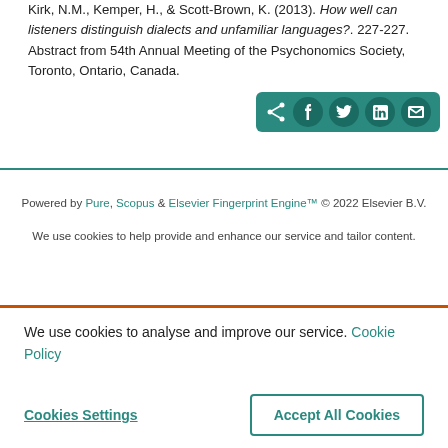Kirk, N.M., Kemper, H., & Scott-Brown, K. (2013). How well can listeners distinguish dialects and unfamiliar languages?. 227-227. Abstract from 54th Annual Meeting of the Psychonomics Society, Toronto, Ontario, Canada.
[Figure (other): Social share bar with icons for Facebook, Twitter, LinkedIn, and email on a teal background]
Powered by Pure, Scopus & Elsevier Fingerprint Engine™ © 2022 Elsevier B.V.
We use cookies to help provide and enhance our service and tailor content.
We use cookies to analyse and improve our service. Cookie Policy
Cookies Settings
Accept All Cookies